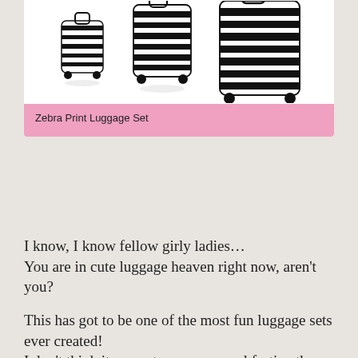[Figure (photo): Zebra print luggage set with wheels, three pieces, black and white zebra stripes, on white background]
Zebra Print Luggage Set
I know, I know fellow girly ladies…
You are in cute luggage heaven right now, aren't you?
This has got to be one of the most fun luggage sets ever created!
I don't think it can get any more cool festive than that!
It's an awesome zebra print luggage set!
(Wait until you see people's faces at the baggage wheel…)